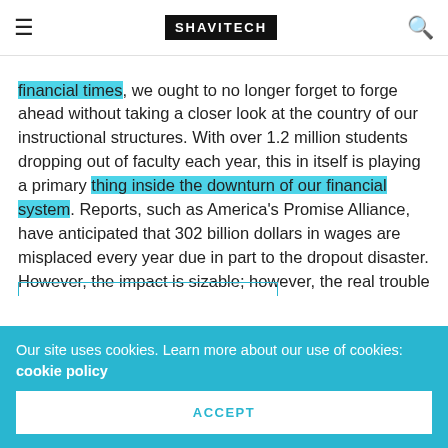SHAVITECH
financial times, we ought to no longer forget to forge ahead without taking a closer look at the country of our instructional structures. With over 1.2 million students dropping out of faculty each year, this in itself is playing a primary thing inside the downturn of our financial system. Reports, such as America's Promise Alliance, have anticipated that 302 billion dollars in wages are misplaced every year due in part to the dropout disaster. However, the impact is sizable; however, the real trouble is the drastic dilemma that it places our united states' most valuable asset in…OUR YOUTH!
Our site uses cookies. Learn more about our use of cookies: cookie policy
ACCEPT